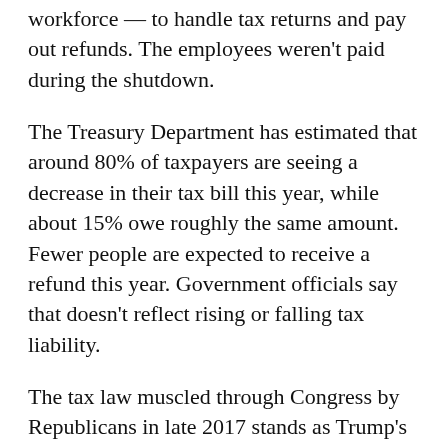workforce — to handle tax returns and pay out refunds. The employees weren't paid during the shutdown.
The Treasury Department has estimated that around 80% of taxpayers are seeing a decrease in their tax bill this year, while about 15% owe roughly the same amount. Fewer people are expected to receive a refund this year. Government officials say that doesn't reflect rising or falling tax liability.
The tax law muscled through Congress by Republicans in late 2017 stands as Trump's signature legislative achievement. It took effect Jan. 1, 2018. The package provides generous tax cuts for corporations and the wealthiest Americans, and more modest reductions for middle- and low-income individuals and families.